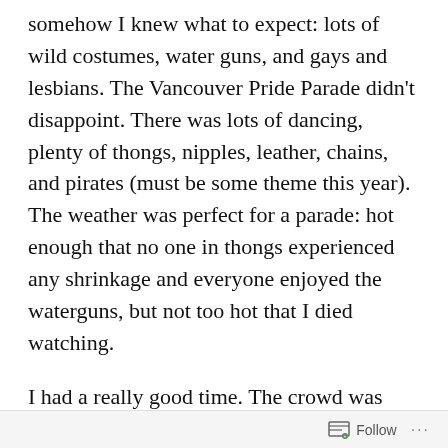somehow I knew what to expect: lots of wild costumes, water guns, and gays and lesbians. The Vancouver Pride Parade didn't disappoint. There was lots of dancing, plenty of thongs, nipples, leather, chains, and pirates (must be some theme this year). The weather was perfect for a parade: hot enough that no one in thongs experienced any shrinkage and everyone enjoyed the waterguns, but not too hot that I died watching.
I had a really good time. The crowd was loud, proud, and boisterous: whistling at everyone
Follow ···